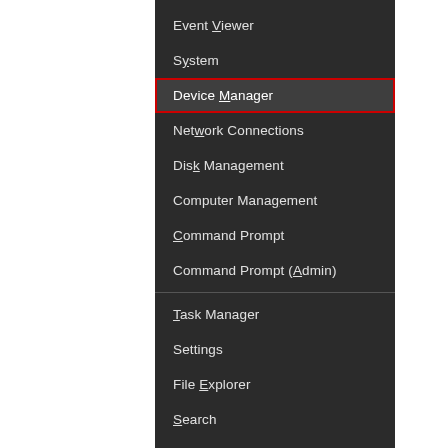[Figure (screenshot): Windows right-click Start menu context menu on a dark background, showing menu items: Event Viewer, System, Device Manager (highlighted with red border), Network Connections, Disk Management, Computer Management, Command Prompt, Command Prompt (Admin), separator, Task Manager, Settings, File Explorer, Search, Run, separator.]